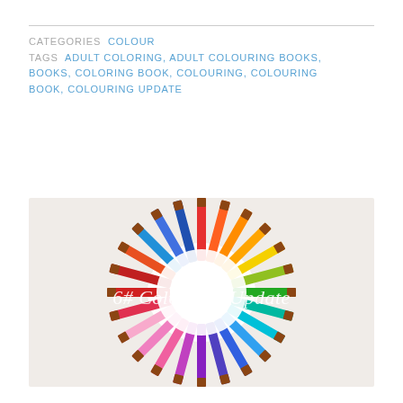CATEGORIES  COLOUR
TAGS  ADULT COLORING, ADULT COLOURING BOOKS, BOOKS, COLORING BOOK, COLOURING, COLOURING BOOK, COLOURING UPDATE
[Figure (photo): Circle of colorful pencils arranged in a heart/starburst pattern pointing inward on a white background, with white script text overlay reading '6# Colouring Update']